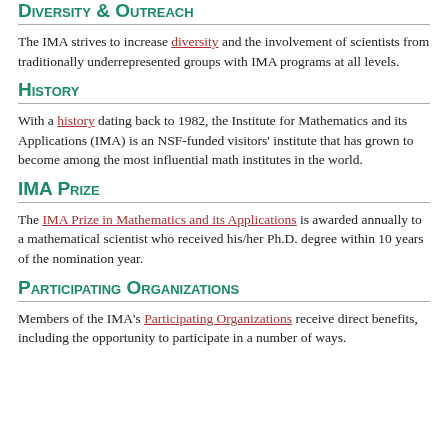Diversity & Outreach
The IMA strives to increase diversity and the involvement of scientists from traditionally underrepresented groups with IMA programs at all levels.
History
With a history dating back to 1982, the Institute for Mathematics and its Applications (IMA) is an NSF-funded visitors' institute that has grown to become among the most influential math institutes in the world.
IMA Prize
The IMA Prize in Mathematics and its Applications is awarded annually to a mathematical scientist who received his/her Ph.D. degree within 10 years of the nomination year.
Participating Organizations
Members of the IMA's Participating Organizations receive direct benefits, including the opportunity to participate in a number of ways.